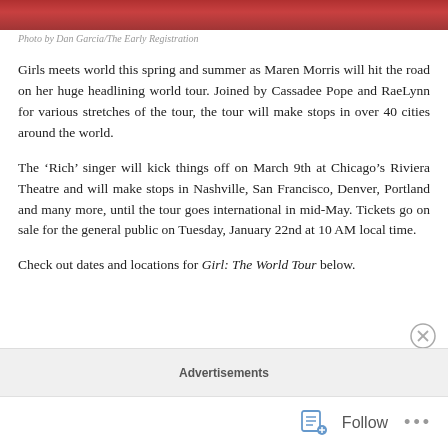[Figure (photo): Cropped photo strip at top of page showing people, partially visible]
Photo by Dan Garcia/The Early Registration
Girls meets world this spring and summer as Maren Morris will hit the road on her huge headlining world tour. Joined by Cassadee Pope and RaeLynn for various stretches of the tour, the tour will make stops in over 40 cities around the world.
The ‘Rich’ singer will kick things off on March 9th at Chicago’s Riviera Theatre and will make stops in Nashville, San Francisco, Denver, Portland and many more, until the tour goes international in mid-May. Tickets go on sale for the general public on Tuesday, January 22nd at 10 AM local time.
Check out dates and locations for Girl: The World Tour below.
Advertisements
Follow